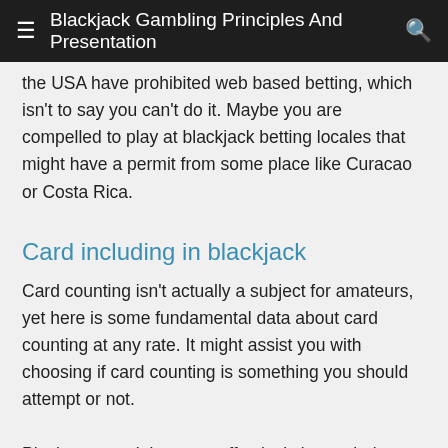≡  Blackjack Gambling Principles And Presentation  🔍
the USA have prohibited web based betting, which isn't to say you can't do it. Maybe you are compelled to play at blackjack betting locales that might have a permit from some place like Curacao or Costa Rica.
Card including in blackjack
Card counting isn't actually a subject for amateurs, yet here is some fundamental data about card counting at any rate. It might assist you with choosing if card counting is something you should attempt or not.
Playing essential system effectively is regularly enough to get a near even game, but to accomplish a drawn out advantage for the player, card counting methods should be